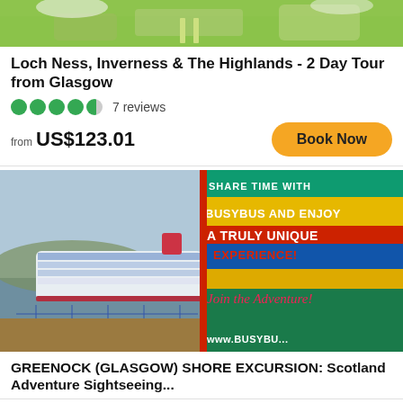[Figure (photo): Top portion of a scenic outdoor photo showing green grass, a path, and blossoming trees]
Loch Ness, Inverness & The Highlands - 2 Day Tour from Glasgow
7 reviews
from US$123.01
Book Now
[Figure (photo): A large cruise ship docked on a waterway with hills in the background on the left side, and a BusyBus promotional banner on the right reading 'SHARE TIME WITH BUSYBUS AND ENJOY A TRULY UNIQUE EXPERIENCE!' with cursive text 'Join the Adventure!' and 'www.BUSYBU...' at the bottom]
GREENOCK (GLASGOW) SHORE EXCURSION: Scotland Adventure Sightseeing...